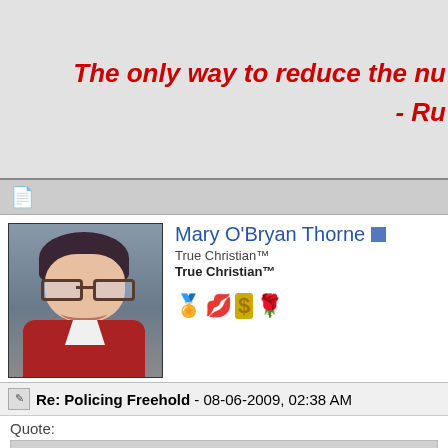The only way to reduce the nu - Ru
[Figure (photo): Portrait photo of a woman with glasses and short dark hair, wearing a red jacket, smiling. Used as a forum avatar for Mary O'Bryan Thorne.]
Mary O'Bryan Thorne
True Christian™
True Christian™
Re: Policing Freehold - 08-06-2009, 02:38 AM
Quote:
Originally Posted by Buford T Scoggins
You know, Sister Mary, I've been trying to become a foster pa.
I think the authorities are discriminating against me because I
excuses like "you can't adopt children if you're homeless" or "
of mental illness disqualifies you."

It really is unfair.

yours in Christ,
Brother Buford